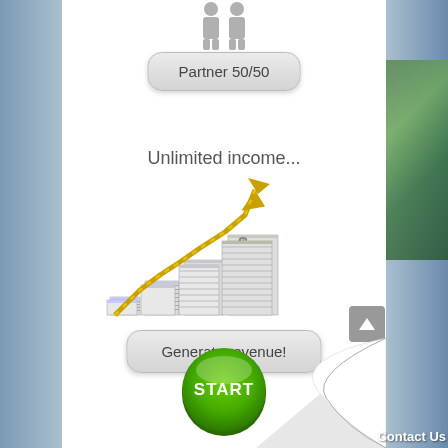[Figure (illustration): Two grey 3D human figures standing together (partner icon) at the top of the page]
Partner 50/50
Unlimited income...
[Figure (illustration): 3D illustration of stacked money bundles arranged in ascending steps with a golden arrow pointing upward and to the right, representing growing income]
Generate revenue!
[Figure (illustration): Green circular START button with white bold text]
Contact Us